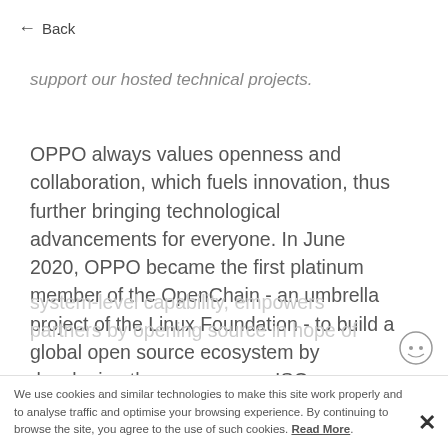← Back
support our hosted technical projects.
OPPO always values openness and collaboration, which fuels innovation, thus further bringing technological advancements for everyone. In June 2020, OPPO became the first platinum member of the OpenChain - an umbrella project of the Linux Foundation - to build a global open source ecosystem by developing the open source ISO standards as the first Mainland China company. During OPPO ODC 2020 in Octobor, ColorOS unlocked seven
system-level capability, empowers partners by opening source in hope of continuous
We use cookies and similar technologies to make this site work properly and to analyse traffic and optimise your browsing experience. By continuing to browse the site, you agree to the use of such cookies. Read More.